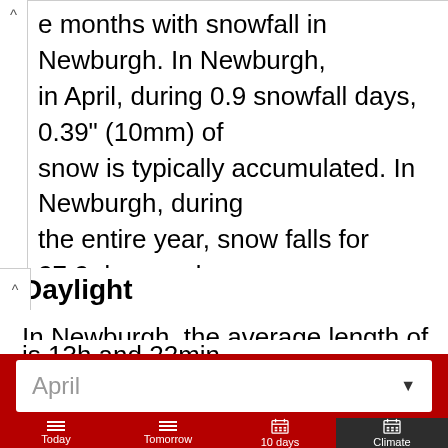e months with snowfall in Newburgh. In Newburgh, in April, during 0.9 snowfall days, 0.39" (10mm) of snow is typically accumulated. In Newburgh, during the entire year, snow falls for 27.2 days and aggregates up to 17.2" (437mm) of snow.
Daylight
In Newburgh, the average length of the day in April is 13h and 22min.
April
Today
Tomorrow
10 days
Climate